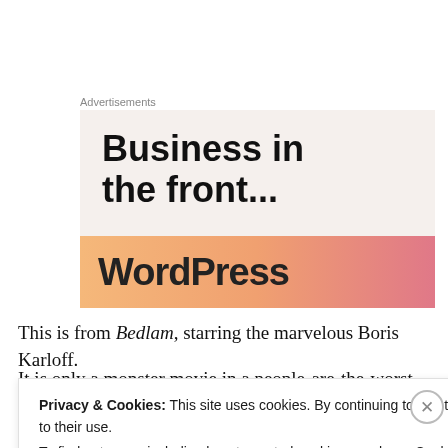Advertisements
[Figure (screenshot): WordPress advertisement banner with text 'Business in the front...' on a beige background, with a gradient orange-pink bar at the bottom showing 'WordPress' in bold]
This is from Bedlam, starring the marvelous Boris Karloff.
It is only a monster movie in a people-are-the-worst-
Privacy & Cookies: This site uses cookies. By continuing to use this website, you agree to their use.
To find out more, including how to control cookies, see here: Cookie Policy
Close and accept